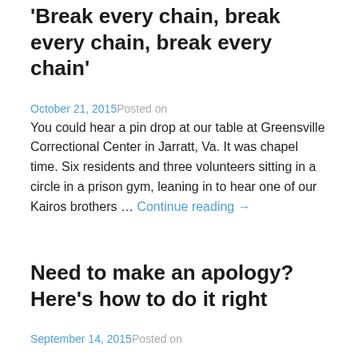'Break every chain, break every chain, break every chain'
October 21, 2015Posted on
You could hear a pin drop at our table at Greensville Correctional Center in Jarratt, Va. It was chapel time. Six residents and three volunteers sitting in a circle in a prison gym, leaning in to hear one of our Kairos brothers … Continue reading →
Need to make an apology? Here's how to do it right
September 14, 2015Posted on